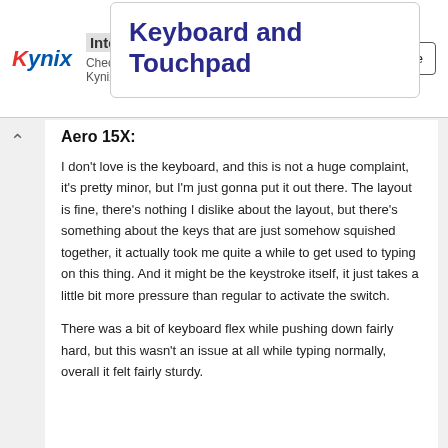[Figure (other): Kynix Integrated Circuits Supplier advertisement banner with logo, text, and Get Quote button]
Keyboard and Touchpad
Aero 15X:
I don't love is the keyboard, and this is not a huge complaint, it's pretty minor, but I'm just gonna put it out there. The layout is fine, there's nothing I dislike about the layout, but there's something about the keys that are just somehow squished together, it actually took me quite a while to get used to typing on this thing. And it might be the keystroke itself, it just takes a little bit more pressure than regular to activate the switch.
There was a bit of keyboard flex while pushing down fairly hard, but this wasn't an issue at all while typing normally, overall it felt fairly sturdy.